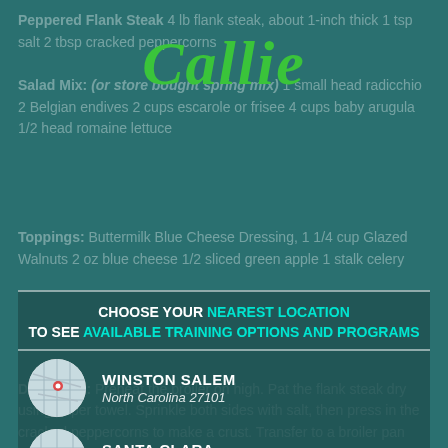[Figure (logo): Callie script logo in green italic font]
Peppered Flank Steak 4 lb flank steak, about 1-inch thick 1 tsp salt 2 tbsp cracked peppercorns
Salad Mix: (or store bought spring mix) 1 small head radicchio 2 Belgian endives 2 cups escarole or frisee 4 cups baby arugula 1/2 head romaine lettuce
CHOOSE YOUR NEAREST LOCATION TO SEE AVAILABLE TRAINING OPTIONS AND PROGRAMS
Toppings: Buttermilk Blue Cheese Dressing, 1 1/4 cup Glazed Walnuts 2 oz blue cheese 1/2 sliced green apple 1 stalk celery
WINSTON SALEM — North Carolina 27101
SANTA CLARA — North Carolina 95054
Directions: Preheat the broiler on high. Pat the flank steak dry using paper towel. Sprinkle both sides with salt, then press in the cracked peppercorns to make a crust. Transfer to a broiler pan and place under the preheated broiler to cook for 4-5 minutes per side, until cooked to medium-rare or a meat thermometer registers an internal temperature of 165F. To avoid burning, rotate the pan...